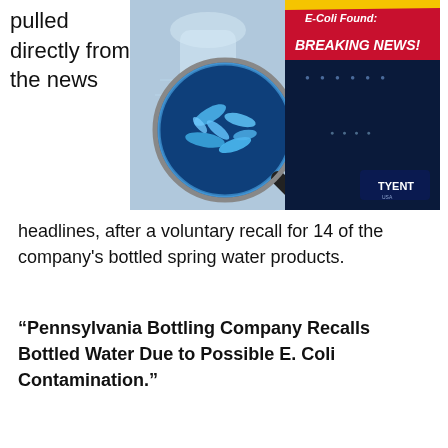pulled directly from the news
[Figure (photo): Breaking news graphic showing a water bottle with a magnifying glass revealing E. Coli bacteria (blue microscopic image). Red and white banner reads 'E-Coli Found: BREAKING NEWS!' on a dark navy background. Tyent logo in lower right.]
headlines, after a voluntary recall for 14 of the company's bottled spring water products.
“Pennsylvania Bottling Company Recalls Bottled Water Due to Possible E. Coli Contamination.”